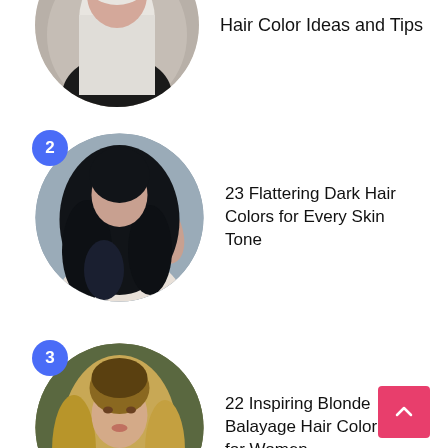[Figure (photo): Circular thumbnail of person with long silver/white hair from behind, wearing black top]
23 Flattering Dark Hair Colors for Every Skin Tone
[Figure (photo): Circular thumbnail of person with long dark wavy hair from behind]
22 Inspiring Blonde Balayage Hair Color Ideas for Women
[Figure (photo): Circular thumbnail of woman with blonde balayage hair facing camera]